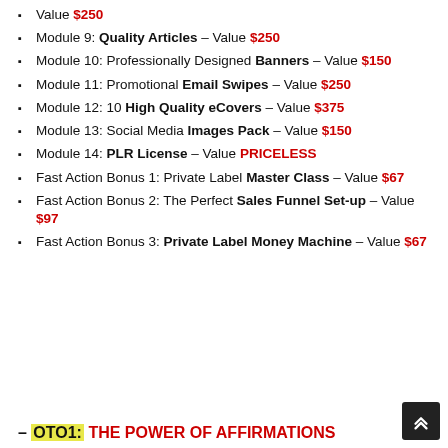Value $250
Module 9: Quality Articles – Value $250
Module 10: Professionally Designed Banners – Value $150
Module 11: Promotional Email Swipes – Value $250
Module 12: 10 High Quality eCovers – Value $375
Module 13: Social Media Images Pack – Value $150
Module 14: PLR License – Value PRICELESS
Fast Action Bonus 1: Private Label Master Class – Value $67
Fast Action Bonus 2: The Perfect Sales Funnel Set-up – Value $97
Fast Action Bonus 3: Private Label Money Machine – Value $67
– OTO1: THE POWER OF AFFIRMATIONS